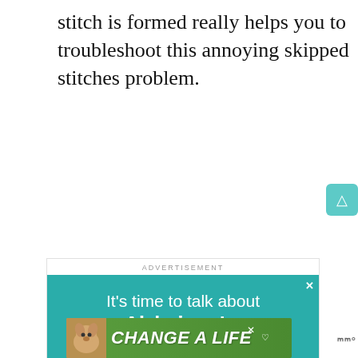stitch is formed really helps you to troubleshoot this annoying skipped stitches problem.
[Figure (infographic): Advertisement section containing two ads: 1) Alzheimer's Association ad on teal background with text 'It's time to talk about Alzheimer's.', LEARN MORE button, alz.org/ourstories URL, and illustrated cartoon of elderly person with caregiver. 2) Bottom banner ad with dog photo and 'CHANGE A LIFE' text on green background. Side UI buttons including heart and share icons.]